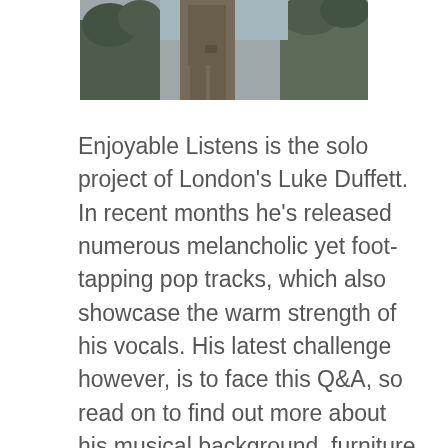[Figure (photo): Black and white photo of a person standing outdoors, partially visible from waist down, wearing a suit, with trees in the background]
Enjoyable Listens is the solo project of London's Luke Duffett. In recent months he's released numerous melancholic yet foot-tapping pop tracks, which also showcase the warm strength of his vocals. His latest challenge however, is to face this Q&A, so read on to find out more about his musical background, furniture making, crayfish risotto… and toast!